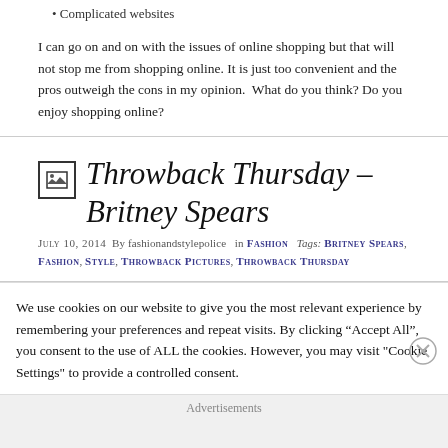Complicated websites
I can go on and on with the issues of online shopping but that will not stop me from shopping online. It is just too convenient and the pros outweigh the cons in my opinion.  What do you think? Do you enjoy shopping online?
Throwback Thursday – Britney Spears
July 10, 2014  By fashionandstylepolice  in Fashion  Tags: Britney Spears, Fashion, Style, Throwback Pictures, Throwback Thursday
We use cookies on our website to give you the most relevant experience by remembering your preferences and repeat visits. By clicking “Accept All”, you consent to the use of ALL the cookies. However, you may visit "Cookie Settings" to provide a controlled consent.
Advertisements